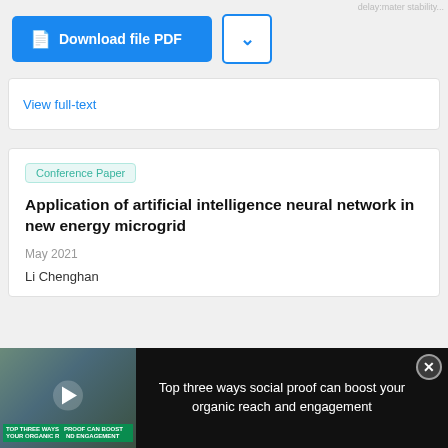[Figure (screenshot): Download file PDF button (blue) and a chevron dropdown button]
View full-text
Conference Paper
Application of artificial intelligence neural network in new energy microgrid
May 2021
Li Chenghan
[Figure (screenshot): Video overlay: 'Top three ways social proof can boost your organic reach and engagement' with play button and thumbnail showing lab workers]
[Figure (screenshot): ThermoFisher Scientific advertisement with blue stem cell handbook cover - Pluripotent stem cell]